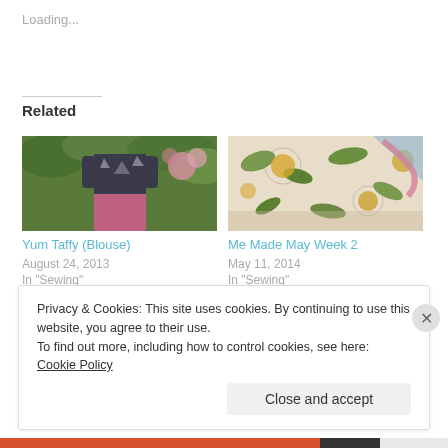Loading...
Related
[Figure (photo): Person wearing dark patterned top and pink skirt, standing in a garden with pink flowers]
Yum Taffy (Blouse)
August 24, 2013
In "Sewing"
[Figure (photo): Colorful patterned fabric with abstract botanical and geometric designs in yellow, green, and blue tones]
Me Made May Week 2
May 11, 2014
In "Sewing"
Privacy & Cookies: This site uses cookies. By continuing to use this website, you agree to their use.
To find out more, including how to control cookies, see here: Cookie Policy
Close and accept